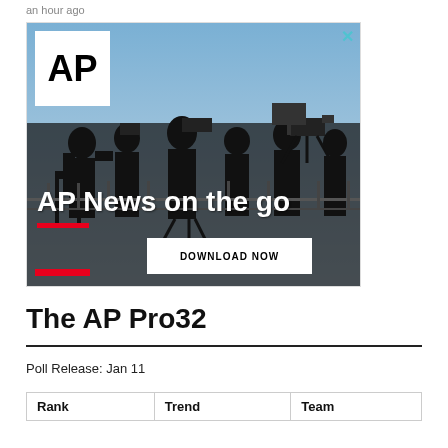an hour ago
[Figure (photo): AP News advertisement showing silhouettes of camera operators on a bridge against a blue sky, with AP logo, text 'AP News on the go', and a 'DOWNLOAD NOW' button.]
The AP Pro32
Poll Release: Jan 11
| Rank | Trend | Team |
| --- | --- | --- |